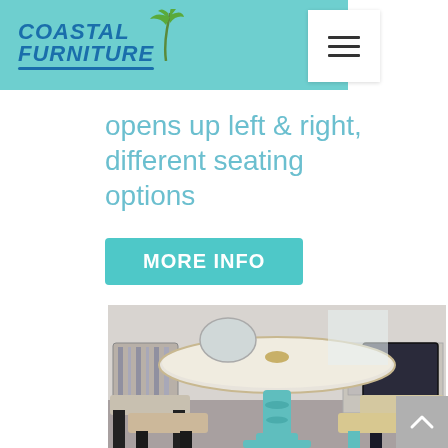Coastal Furniture
opens up left & right, different seating options
MORE INFO
[Figure (photo): A round coastal-style pedestal dining table painted in teal/turquoise with a whitewashed top, surrounded by bar-height chairs with upholstered seats in a furniture store showroom setting.]